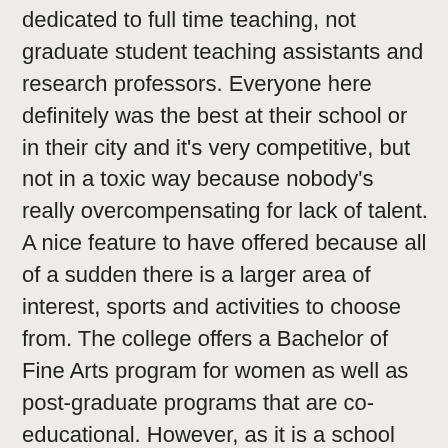dedicated to full time teaching, not graduate student teaching assistants and research professors. Everyone here definitely was the best at their school or in their city and it's very competitive, but not in a toxic way because nobody's really overcompensating for lack of talent. A nice feature to have offered because all of a sudden there is a larger area of interest, sports and activities to choose from. The college offers a Bachelor of Fine Arts program for women as well as post-graduate programs that are co-educational. However, as it is a school with a pass/fail system and with no GPA, it is extremely easy to pass courses. The staff went above and beyond my expectations as did the professors. Programs of study include painting, sculpture, and photography, as well as furniture design and glass. The whole school feels like one big family. I personally believed I wanted to go into biomedical engineering, however, after taking a variety of classes at Brown in environmental studies, I have switched